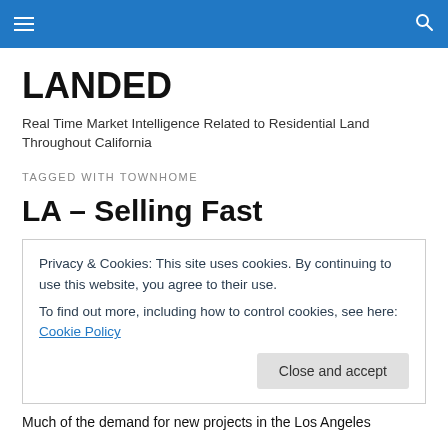LANDED — navigation bar
LANDED
Real Time Market Intelligence Related to Residential Land Throughout California
TAGGED WITH TOWNHOME
LA – Selling Fast
Privacy & Cookies: This site uses cookies. By continuing to use this website, you agree to their use.
To find out more, including how to control cookies, see here: Cookie Policy
Much of the demand for new projects in the Los Angeles